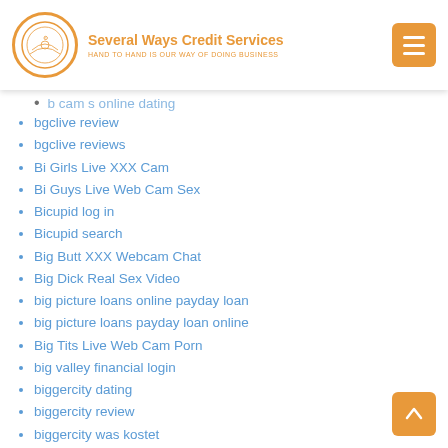Several Ways Credit Services — HAND TO HAND IS OUR WAY OF DOING BUSINESS
b cam s online dating
bgclive review
bgclive reviews
Bi Girls Live XXX Cam
Bi Guys Live Web Cam Sex
Bicupid log in
Bicupid search
Big Butt XXX Webcam Chat
Big Dick Real Sex Video
big picture loans online payday loan
big picture loans payday loan online
Big Tits Live Web Cam Porn
big valley financial login
biggercity dating
biggercity review
biggercity was kostet
Biker dating apps list
biker dating review
Biker Dating Sites username
Biker Planet review